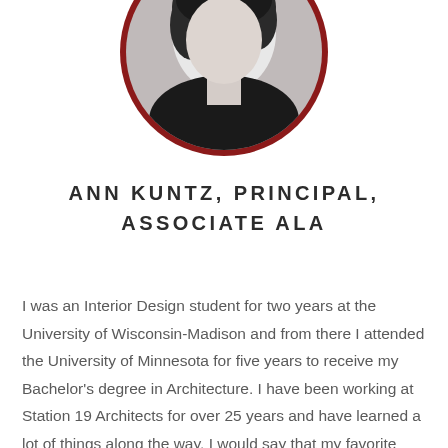[Figure (photo): Black and white circular portrait photo of Ann Kuntz with a dark red/maroon circular border]
ANN KUNTZ, PRINCIPAL, ASSOCIATE ALA
I was an Interior Design student for two years at the University of Wisconsin-Madison and from there I attended the University of Minnesota for five years to receive my Bachelor's degree in Architecture. I have been working at Station 19 Architects for over 25 years and have learned a lot of things along the way. I would say that my favorite aspect of my job is being able to bring order to the chaos and figuring